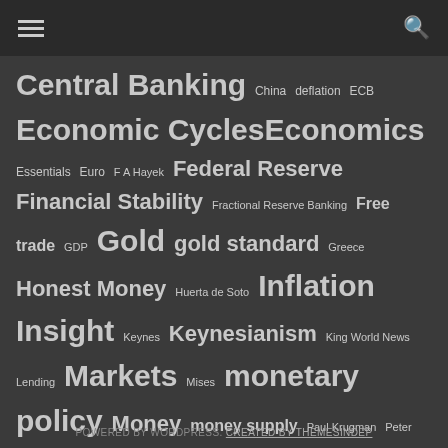[navigation bar with hamburger menu and search icon]
Central Banking China deflation ECB Economic Cycles Economics Essentials Euro F A Hayek Federal Reserve Financial Stability Fractional Reserve Banking Free trade GDP Gold gold standard Greece Honest Money Huerta de Soto Inflation Insight Keynes Keynesianism King World News Lending Markets Mises monetary policy Money money supply Paul Krugman Peter Schiff Quantitative Easing Reform Regulation Risk Sean Corrigan Sovereign Debt
POWERED BY WORDPRESS. CREATED BY THEMESINDEP